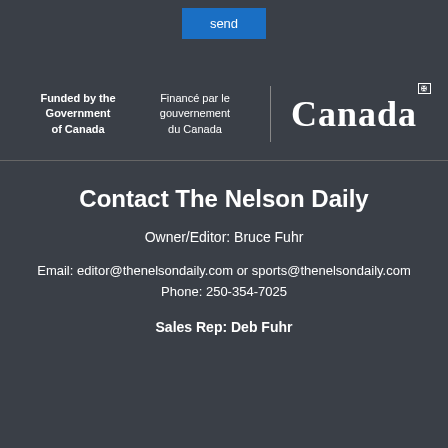[Figure (other): Blue 'send' button]
[Figure (logo): Funded by the Government of Canada / Financé par le gouvernement du Canada | Canada wordmark with flag icon]
Contact The Nelson Daily
Owner/Editor: Bruce Fuhr
Email: editor@thenelsondaily.com or sports@thenelsondaily.com
Phone: 250-354-7025
Sales Rep: Deb Fuhr